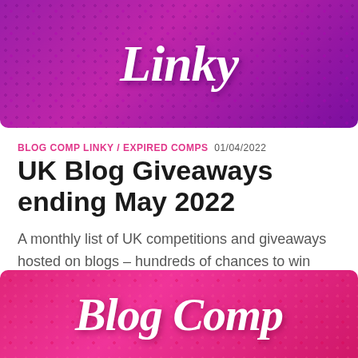[Figure (illustration): Purple/magenta decorative banner with damask pattern and stylized 'Linky' text in white italic font]
BLOG COMP LINKY / EXPIRED COMPS 01/04/2022
UK Blog Giveaways ending May 2022
A monthly list of UK competitions and giveaways hosted on blogs – hundreds of chances to win great prizes! It's completely FREE to add your blog giveaways.
[Figure (illustration): Pink/hot-pink decorative banner with damask pattern and stylized 'Blog Comp' text in white italic font]